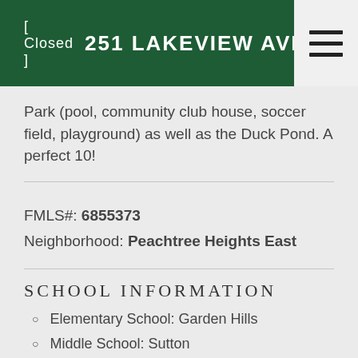[ Closed ]  251 LAKEVIEW AVENUE NE
Park (pool, community club house, soccer field, playground) as well as the Duck Pond. A perfect 10!
FMLS#: 6855373
Neighborhood: Peachtree Heights East
SCHOOL INFORMATION
Elementary School: Garden Hills
Middle School: Sutton
High School: North Atlanta